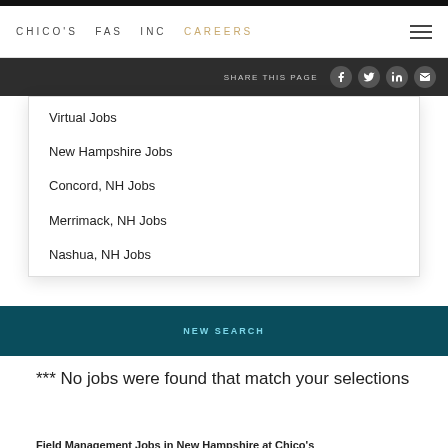CHICO'S FAS INC CAREERS
SHARE THIS PAGE
Virtual Jobs
New Hampshire Jobs
Concord, NH Jobs
Merrimack, NH Jobs
Nashua, NH Jobs
NEW SEARCH
*** No jobs were found that match your selections
Search ALL Jobs
Field Management Jobs in New Hampshire at Chico's